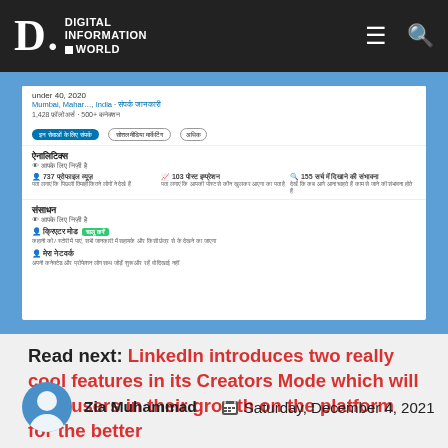DIGITAL INFORMATION WORLD
[Figure (screenshot): Screenshot of a LinkedIn page in Hindi showing profile sections including analytics, resources, and action buttons]
Read next: LinkedIn introduces two really cool features in its Creators Mode which will help users in their growth on the platform for the better
Zia Muhammad   Saturday, December 4, 2021